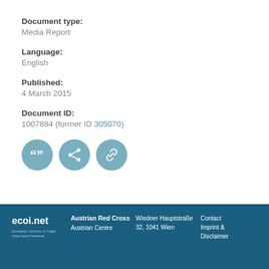Document type:
Media Report
Language:
English
Published:
4 March 2015
Document ID:
1007884 (former ID 305070)
[Figure (infographic): Three circular icon buttons: quote/cite icon, share icon, and link icon, all with a teal-blue background]
ecoi.net | Austrian Red Cross Austrian Centre | Wiedner Hauptstraße 32, 1041 Wien | Contact Imprint & Disclaimer